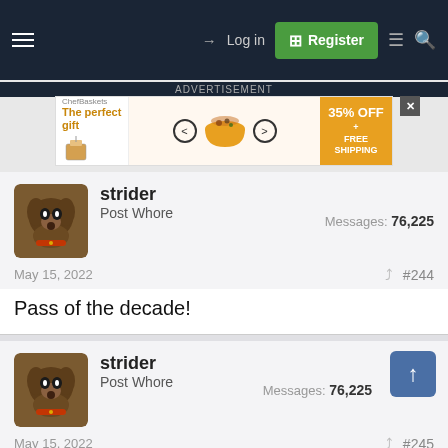ADVERTISEMENT
[Figure (screenshot): Advertisement banner: The perfect gift - 35% OFF + FREE SHIPPING with bowl image and navigation arrows]
Navigation bar with hamburger menu, Log in, Register, and search icons
strider
Post Whore
Messages: 76,225
May 15, 2022
#244
Pass of the decade!
strider
Post Whore
Messages: 76,225
May 15, 2022
#245